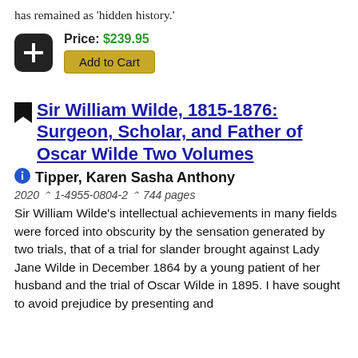has remained as 'hidden history.'
Price: $239.95
Add to Cart
Sir William Wilde, 1815-1876: Surgeon, Scholar, and Father of Oscar Wilde Two Volumes
Tipper, Karen Sasha Anthony
2020 ^ 1-4955-0804-2 ^ 744 pages
Sir William Wilde's intellectual achievements in many fields were forced into obscurity by the sensation generated by two trials, that of a trial for slander brought against Lady Jane Wilde in December 1864 by a young patient of her husband and the trial of Oscar Wilde in 1895. I have sought to avoid prejudice by presenting and